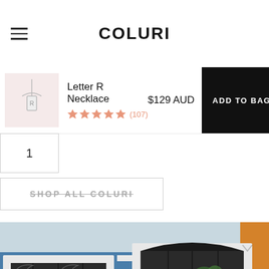COLURi
Letter R Necklace ★★★★★ (107) $129 AUD ADD TO BAG
1
SHOP ALL COLURI
[Figure (photo): Colourful blue and orange building facade with two ornate black metal barred windows with white stone frames, photographed outdoors in bright daylight.]